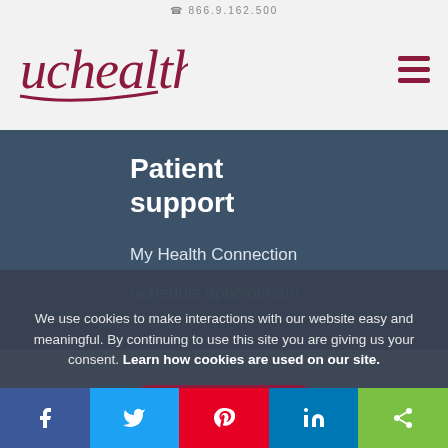866.9.162.500
[Figure (logo): UCHealth logo — stylized lowercase 'uchealth' text with dark red underline flourish]
Patient support
My Health Connection
Schedule appointment
We use cookies to make interactions with our website easy and meaningful. By continuing to use this site you are giving us your consent. Learn how cookies are used on our site.
Accept terms